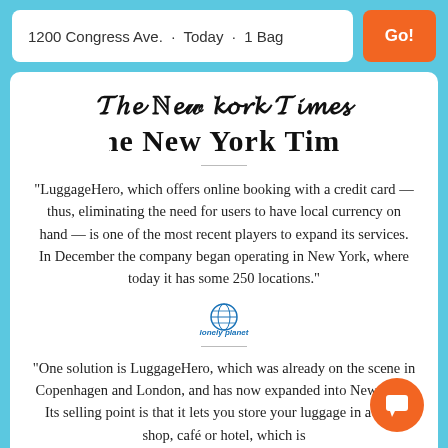1200 Congress Ave. · Today · 1 Bag  Go!
[Figure (logo): The New York Times masthead logo in blackletter/Old English style font]
"LuggageHero, which offers online booking with a credit card — thus, eliminating the need for users to have local currency on hand — is one of the most recent players to expand its services. In December the company began operating in New York, where today it has some 250 locations."
[Figure (logo): Lonely Planet logo — circular globe icon with 'lonely planet' text in blue]
"One solution is LuggageHero, which was already on the scene in Copenhagen and London, and has now expanded into New York. Its selling point is that it lets you store your luggage in a local shop, café or hotel, which is